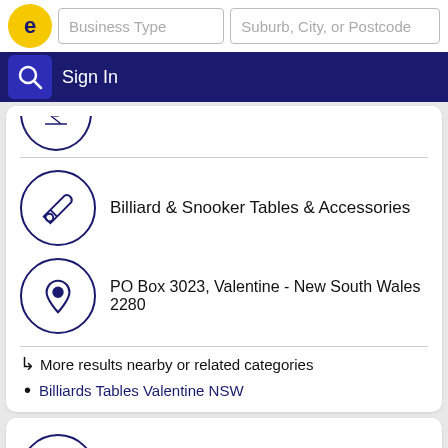Business Type | Suburb, City, or Postcode | Sign In
[Figure (screenshot): Partial circle icon at top of first card]
Billiard & Snooker Tables & Accessories
PO Box 3023, Valentine - New South Wales 2280
↳ More results nearby or related categories
Billiards Tables Valentine NSW
Power Pool Tables
Eleebana